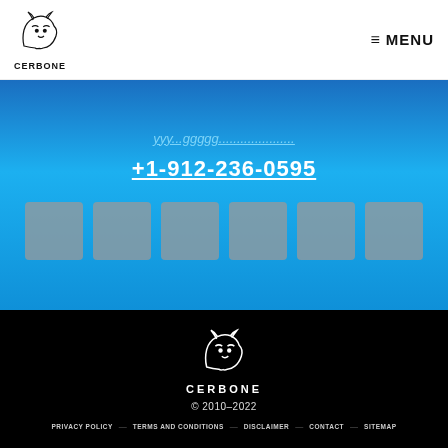[Figure (logo): Cerbone logo with dog/wolf head illustration and text CERBONE below]
MENU
+1-912-236-0595
[Figure (illustration): Six gray placeholder boxes in a row]
[Figure (logo): Cerbone white logo on black background with dog head and CERBONE text]
© 2010–2022
PRIVACY POLICY — TERMS AND CONDITIONS — DISCLAIMER — CONTACT — SITEMAP